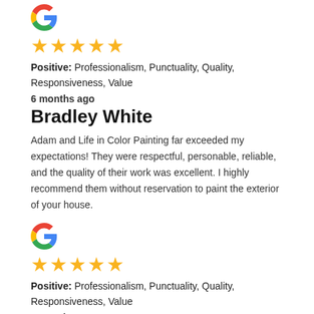[Figure (logo): Google 'G' logo, colorful]
[Figure (other): Five gold stars rating]
Positive: Professionalism, Punctuality, Quality, Responsiveness, Value
6 months ago
Bradley White
Adam and Life in Color Painting far exceeded my expectations! They were respectful, personable, reliable, and the quality of their work was excellent. I highly recommend them without reservation to paint the exterior of your house.
[Figure (logo): Google 'G' logo, colorful]
[Figure (other): Five gold stars rating]
Positive: Professionalism, Punctuality, Quality, Responsiveness, Value
1 month ago